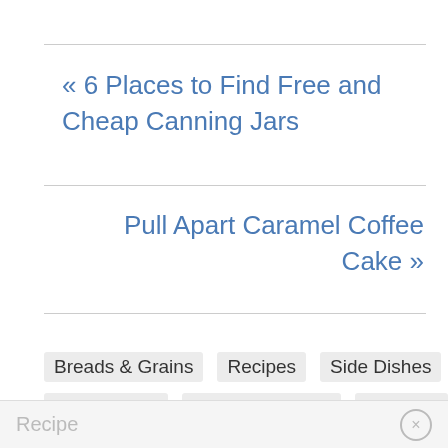« 6 Places to Find Free and Cheap Canning Jars
Pull Apart Caramel Coffee Cake »
Breads & Grains
Recipes
Side Dishes
Bread Recipe
Cornbread Recipe
Side Dish
Recipe